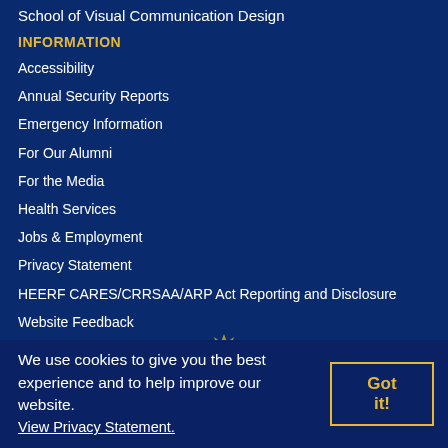School of Visual Communication Design
INFORMATION
Accessibility
Annual Security Reports
Emergency Information
For Our Alumni
For the Media
Health Services
Jobs & Employment
Privacy Statement
HEERF CARES/CRRSAA/ARP Act Reporting and Disclosure
Website Feedback
[Figure (illustration): Small gold crown/sunburst decorative icon]
We use cookies to give you the best experience and to help improve our website. View Privacy Statement.
Got it!